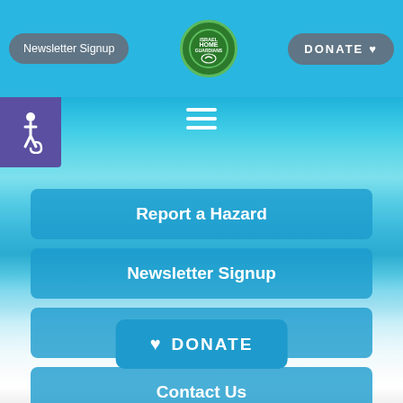[Figure (screenshot): Website navigation menu for Israel Home Guardians organization with accessibility icon, hamburger menu, and navigation buttons on ocean background]
Newsletter Signup
[Figure (logo): Israel Home Guardians circular green logo]
DONATE ♥
Report a Hazard
Newsletter Signup
Request a speaker
Contact Us
♥ DONATE